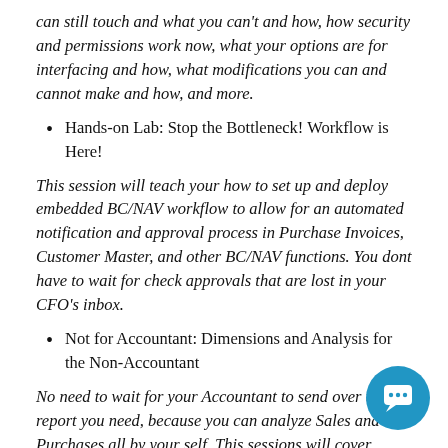can still touch and what you can't and how, how security and permissions work now, what your options are for interfacing and how, what modifications you can and cannot make and how, and more.
Hands-on Lab: Stop the Bottleneck! Workflow is Here!
This session will teach your how to set up and deploy embedded BC/NAV workflow to allow for an automated notification and approval process in Purchase Invoices, Customer Master, and other BC/NAV functions. You dont have to wait for check approvals that are lost in your CFO's inbox.
Not for Accountant: Dimensions and Analysis for the Non-Accountant
No need to wait for your Accountant to send over the report you need, because you can analyze Sales and Purchases all by your self. This sessions will cover